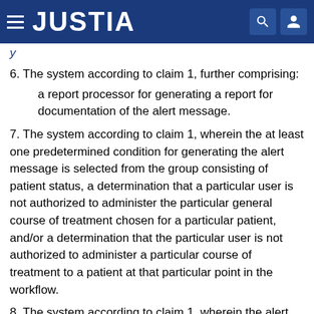JUSTIA
y
6. The system according to claim 1, further comprising:
a report processor for generating a report for documentation of the alert message.
7. The system according to claim 1, wherein the at least one predetermined condition for generating the alert message is selected from the group consisting of patient status, a determination that a particular user is not authorized to administer the particular general course of treatment chosen for a particular patient, and/or a determination that the particular user is not authorized to administer a particular course of treatment to a patient at that particular point in the workflow.
8. The system according to claim 1, wherein the alert processor initiates generating a second message for